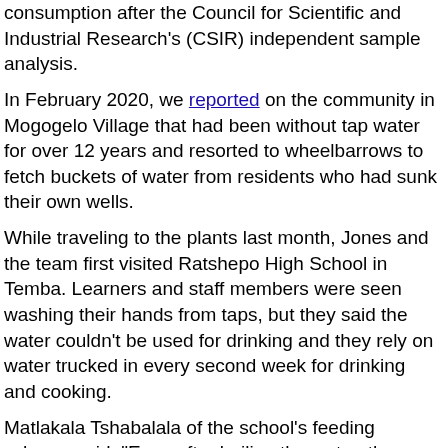consumption after the Council for Scientific and Industrial Research's (CSIR) independent sample analysis.
In February 2020, we reported on the community in Mogogelo Village that had been without tap water for over 12 years and resorted to wheelbarrows to fetch buckets of water from residents who had sunk their own wells.
While traveling to the plants last month, Jones and the team first visited Ratshepo High School in Temba. Learners and staff members were seen washing their hands from taps, but they said the water couldn't be used for drinking and they rely on water trucked in every second week for drinking and cooking.
Matlakala Tshabalala of the school's feeding scheme said, "Even after boiling the water, there wasn't much difference. You could take out the foam from the kettle. It was brown, the kettle's colour also changed and it was smelly."
Resident Pelican Baloyi said, "The water has always tasted salty and unclean. The only thing we can do with the water is bath and do laundry. You can't drink it, you can't even cook with it. It's really sad that other people have no other option but to drink tap water because they cannot buy their own water."
Lasting solution needed for two